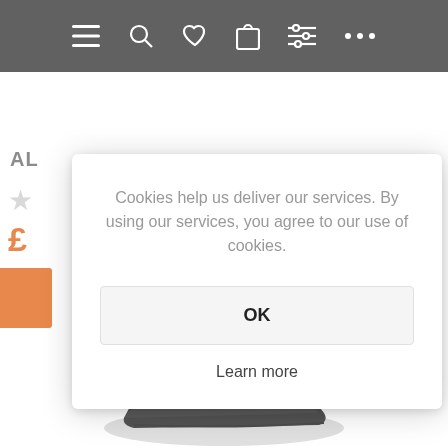[Figure (screenshot): Mobile e-commerce navigation bar with dark background showing hamburger menu, search, heart/wishlist, shopping bag, filter sliders, and ellipsis icons in white]
[Figure (screenshot): Partially visible product listing page with product label 'AL', star rating, orange price starting with pound sign £, and orange button on left side]
Cookies help us deliver our services. By using our services, you agree to our use of cookies.
OK
Learn more
[Figure (photo): Partial view of dark/black footwear product at bottom of page]